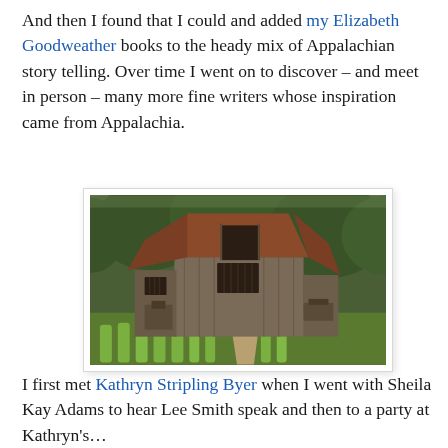And then I found that I could and added my Elizabeth Goodweather books to the heady mix of Appalachian story telling. Over time I went on to discover – and meet in person – many more fine writers whose inspiration came from Appalachia.
[Figure (photo): An old wooden barn with a rusted metal roof set against a background of green trees. In the foreground are rows of green crops or plants along a dirt path, with bright green grass around the structure.]
I first met Kathryn Stripling Byer when I went with Sheila Kay Adams to hear Lee Smith speak and then to a party at Kathryn's...